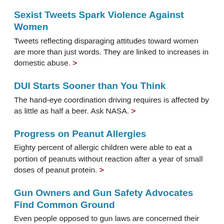Sexist Tweets Spark Violence Against Women
Tweets reflecting disparaging attitudes toward women are more than just words. They are linked to increases in domestic abuse. >
DUI Starts Sooner than You Think
The hand-eye coordination driving requires is affected by as little as half a beer. Ask NASA. >
Progress on Peanut Allergies
Eighty percent of allergic children were able to eat a portion of peanuts without reaction after a year of small doses of peanut protein. >
Gun Owners and Gun Safety Advocates Find Common Ground
Even people opposed to gun laws are concerned their guns could be used in a suicide, making certain gun